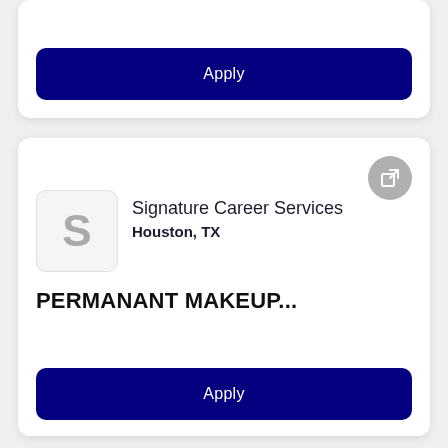Apply
Signature Career Services
Houston, TX
PERMANANT MAKEUP...
Apply